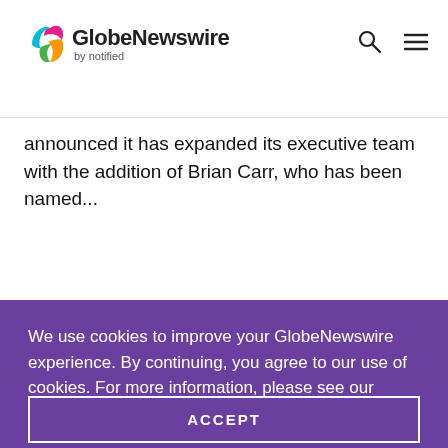[Figure (logo): GlobeNewswire by notified logo with colorful leaf icon]
announced it has expanded its executive team with the addition of Brian Carr, who has been named...
We use cookies to improve your GlobeNewswire experience. By continuing, you agree to our use of cookies. For more information, please see our Privacy Policy.
ACCEPT